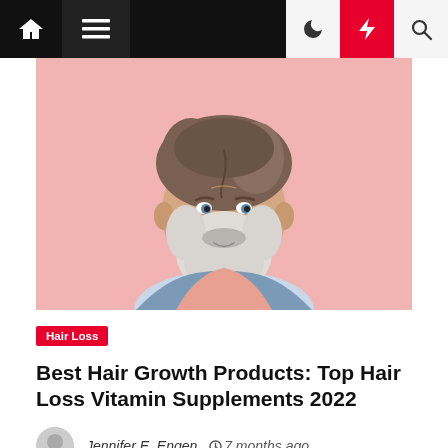Navigation bar with home, menu, moon, bolt, and search icons
[Figure (photo): Middle-aged man with messy brown-grey hair and beard, wearing a denim jacket and pink shirt, against a pink background]
Hair Loss
Best Hair Growth Products: Top Hair Loss Vitamin Supplements 2022
Jennifer E. Engen  7 months ago